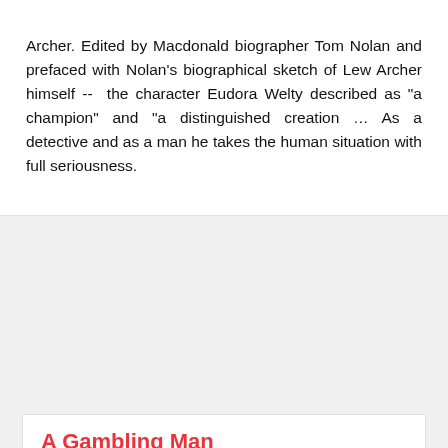Archer. Edited by Macdonald biographer Tom Nolan and prefaced with Nolan's biographical sketch of Lew Archer himself -- the character Eudora Welty described as "a champion" and "a distinguished creation … As a detective and as a man he takes the human situation with full seriousness.
A Gambling Man
[Figure (photo): Book cover of 'A Gambling Man' by David Baldacci. Dark background with large white bold text 'DAVID BALDACCI' at top, orange large text 'A Gambling Man' at bottom, and smaller white text 'ARCHER'S LUCK IS ABOUT TO RUN OUT...' in the middle. Small review text at the very top.]